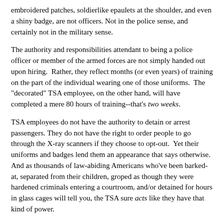embroidered patches, soldierlike epaulets at the shoulder, and even a shiny badge, are not officers. Not in the police sense, and certainly not in the military sense.
The authority and responsibilities attendant to being a police officer or member of the armed forces are not simply handed out upon hiring.  Rather, they reflect months (or even years) of training on the part of the individual wearing one of those uniforms.  The "decorated" TSA employee, on the other hand, will have completed a mere 80 hours of training--that's two weeks.
TSA employees do not have the authority to detain or arrest passengers. They do not have the right to order people to go through the X-ray scanners if they choose to opt-out.  Yet their uniforms and badges lend them an appearance that says otherwise.  And as thousands of law-abiding Americans who've been barked-at, separated from their children, groped as though they were hardened criminals entering a courtroom, and/or detained for hours in glass cages will tell you, the TSA sure acts like they have that kind of power.
Some members of Congress tried to change that:
[Rep. Marsha Blackburn (R-Tenn.)] said TSA had spent more than $1 million in taxpayer money on badges alone since 2009. Worse, she said evidence is mounting that TSA screeners often abuse the impression that they are officers with authority, and noted some cases of rape and other abuse of passengers that has led to dozens